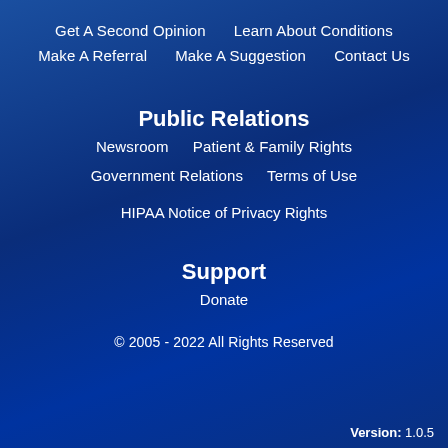Get A Second Opinion   Learn About Conditions
Make A Referral   Make A Suggestion   Contact Us
Public Relations
Newsroom   Patient & Family Rights
Government Relations   Terms of Use
HIPAA Notice of Privacy Rights
Support
Donate
© 2005 - 2022 All Rights Reserved
Version: 1.0.5